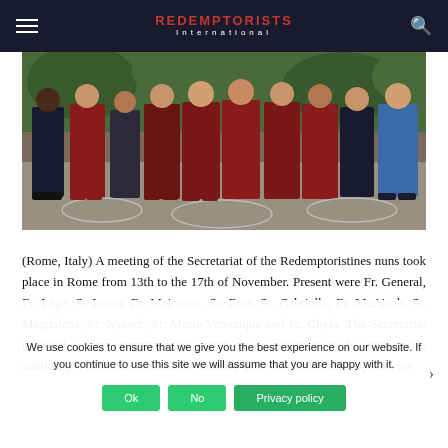REDEMPTORISTS International
[Figure (photo): Group photo of several people standing outdoors, most wearing dark red/maroon religious habits, with green trees in the background.]
(Rome, Italy) A meeting of the Secretariat of the Redemptoristines nuns took place in Rome from 13th to the 17th of November. Present were Fr. General, Fr. Lage, Sr Imma, Fr. Majorano, Sr. Ewa, Sr. Gabrielle, Fr. McAinsh, Sr. Magdalena, Fr. Nyandi, Sr. Marie Venonique and Fr. Chyla. The Secretariat received a very comprehensive report on the situation in the monasteries analysing it in terms of numbers, viability and, in several cases, options for
We use cookies to ensure that we give you the best experience on our website. If you continue to use this site we will assume that you are happy with it.